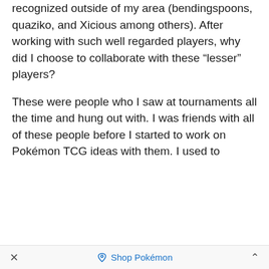recognized outside of my area (bendingspoons, quaziko, and Xicious among others). After working with such well regarded players, why did I choose to collaborate with these “lesser” players?
These were people who I saw at tournaments all the time and hung out with. I was friends with all of these people before I started to work on Pokémon TCG ideas with them. I used to
×   Shop Pokémon   ⌃